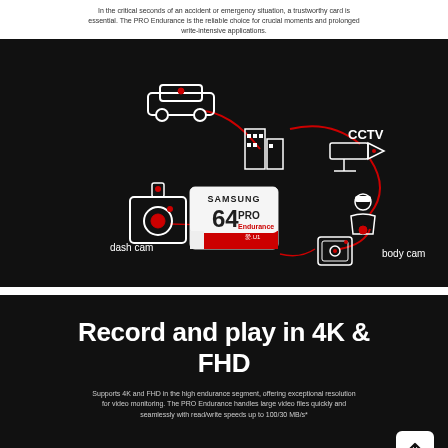In the critical seconds of an accident or emergency situation, a trustworthy card is essential. The PRO Endurance is the reliable choice for crucial moments and prolonged write-intensive applications.
[Figure (infographic): Samsung PRO Endurance 64GB microSD card infographic on black background showing use cases: dash cam (bottom left), CCTV camera (top right), body cam (right center), connected by red lines through a city/car scene. Samsung PRO Endurance 64 card shown in center.]
Record and play in 4K & FHD
Supports 4K and FHD in the high endurance segment, offering exceptional resolution for video monitoring. The PRO Endurance handles large video files quickly and seamlessly with read/write speeds up to 100/30 MB/s*